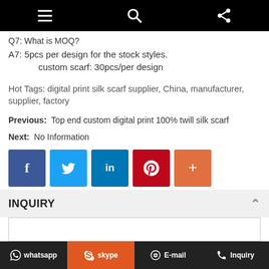Navigation bar with menu, search, and share icons
Q7: What is MOQ?
A7: 5pcs per design for the stock styles.
      custom scarf: 30pcs/per design
Hot Tags: digital print silk scarf supplier, China, manufacturer, supplier, factory
Previous:  Top end custom digital print 100% twill silk scarf
Next:  No Information
[Figure (other): Social share buttons: Facebook, Twitter, LinkedIn, Pinterest, and a plus/more button]
INQUIRY
whatsapp  skype  E-mail  Inquiry